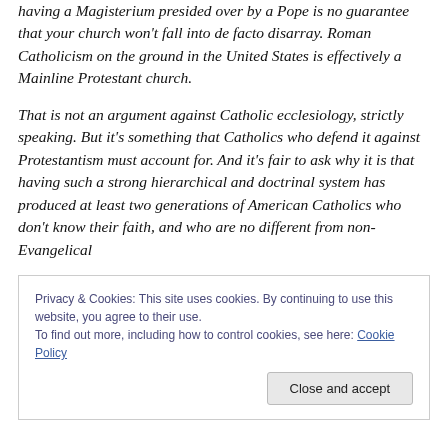having a Magisterium presided over by a Pope is no guarantee that your church won't fall into de facto disarray. Roman Catholicism on the ground in the United States is effectively a Mainline Protestant church.
That is not an argument against Catholic ecclesiology, strictly speaking. But it's something that Catholics who defend it against Protestantism must account for. And it's fair to ask why it is that having such a strong hierarchical and doctrinal system has produced at least two generations of American Catholics who don't know their faith, and who are no different from non-Evangelical
Privacy & Cookies: This site uses cookies. By continuing to use this website, you agree to their use.
To find out more, including how to control cookies, see here: Cookie Policy
Close and accept